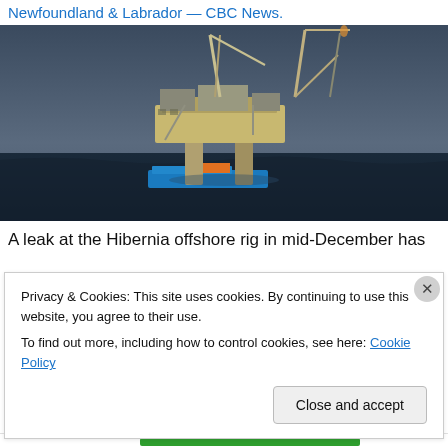Newfoundland & Labrador — CBC News.
[Figure (photo): Hibernia offshore oil rig platform photographed at sea with cranes visible against a grey cloudy sky, a blue supply vessel at the base, and dark choppy ocean water.]
A leak at the Hibernia offshore rig in mid-December has
Privacy & Cookies: This site uses cookies. By continuing to use this website, you agree to their use.
To find out more, including how to control cookies, see here: Cookie Policy
Close and accept